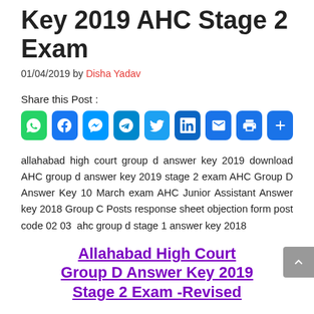Key 2019 AHC Stage 2 Exam
01/04/2019 by Disha Yadav
Share this Post :
[Figure (infographic): Row of social media share buttons: WhatsApp, Facebook, Messenger, Telegram, Twitter, LinkedIn, Email, Print, Share]
allahabad high court group d answer key 2019 download AHC group d answer key 2019 stage 2 exam AHC Group D Answer Key 10 March exam AHC Junior Assistant Answer key 2018 Group C Posts response sheet objection form post code 02 03 ahc group d stage 1 answer key 2018
Allahabad High Court Group D Answer Key 2019 Stage 2 Exam -Revised